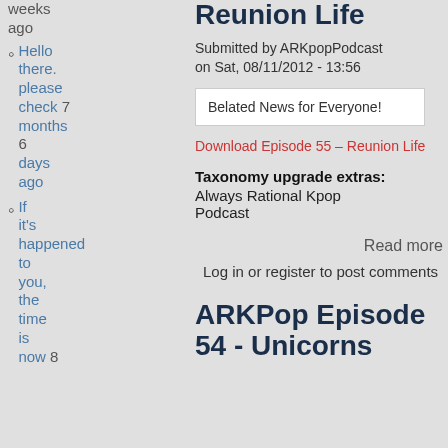weeks ago
Reunion Life
Submitted by ARKpopPodcast on Sat, 08/11/2012 - 13:56
Hello there. please check 7 months 6 days ago
Belated News for Everyone!
Download Episode 55 – Reunion Life
Taxonomy upgrade extras: Always Rational Kpop Podcast
If it's happened to you, the time is now 8
Read more
Log in or register to post comments
ARKPop Episode 54 - Unicorns